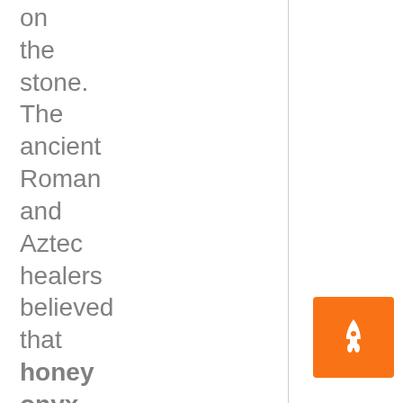on the stone. The ancient Roman and Aztec healers believed that honey onyx stone had tremendous healing abilities, and it is still utilized today as a building material. Astrologers believe
[Figure (other): Orange square button with a white rocket/spaceship icon pointing upward]